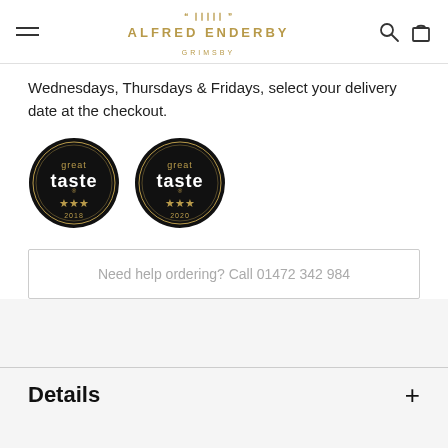ALFRED ENDERBY GRIMSBY
Wednesdays, Thursdays & Fridays, select your delivery date at the checkout.
[Figure (logo): Two Great Taste award badges — three gold stars, 2018 and 2020, black circular badges with gold text]
Need help ordering? Call 01472 342 984
Details